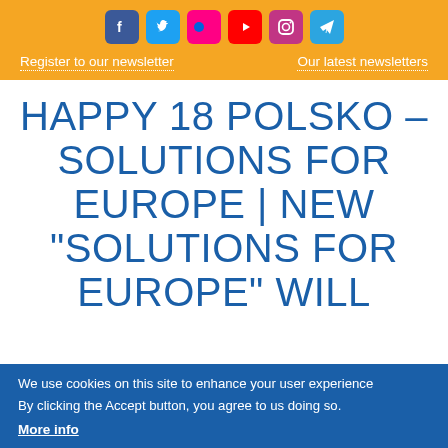[Figure (infographic): Six social media icons in a row: Facebook (blue), Twitter (blue), Flickr (pink/red), YouTube (red), Instagram (purple/pink), Telegram (blue), on an orange background bar]
Register to our newsletter   Our latest newsletters
HAPPY 18 POLSKO – SOLUTIONS FOR EUROPE | NEW "SOLUTIONS FOR EUROPE" WILL
We use cookies on this site to enhance your user experience
By clicking the Accept button, you agree to us doing so.
More info